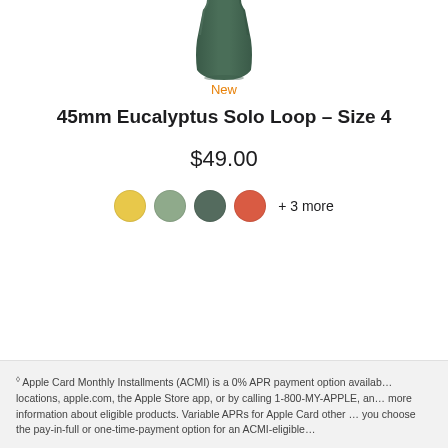[Figure (illustration): Partial view of a green Apple Watch Solo Loop band from above, showing the bottom strap portion centered at the top of the page.]
New
45mm Eucalyptus Solo Loop - Size 4
$49.00
[Figure (other): Four color swatches (yellow, sage green, eucalyptus dark green, coral red) with label '+ 3 more']
◊ Apple Card Monthly Installments (ACMI) is a 0% APR payment option available at Apple Store locations, apple.com, the Apple Store app, or by calling 1-800-MY-APPLE, and is subject to credit approval and credit limit. See applw.com/shop/buy-iphone for more information about eligible products. Variable APRs for Apple Card other than ACMI range from 19.24% to 29.49% based on creditworthiness. Rates as of April 1, 2022. If you choose the pay-in-full or one-time-payment option for an ACMI-eligible